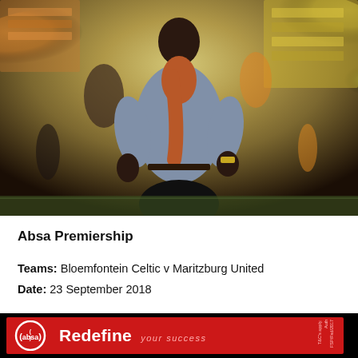[Figure (photo): A football coach or manager standing on the touchline at a stadium. The person is wearing a light blue shirt with an orange/brown scarf draped around the neck, dark trousers with a belt. A crowd in yellow and green is visible in the background. Stadium seats are visible.]
Absa Premiership
Teams: Bloemfontein Celtic v Maritzburg United
Date: 23 September 2018
[Figure (logo): Absa bank advertisement banner. Red background with Absa circular logo on left, text 'Redefine your success' in white and pink, small T&Cs text on right side.]